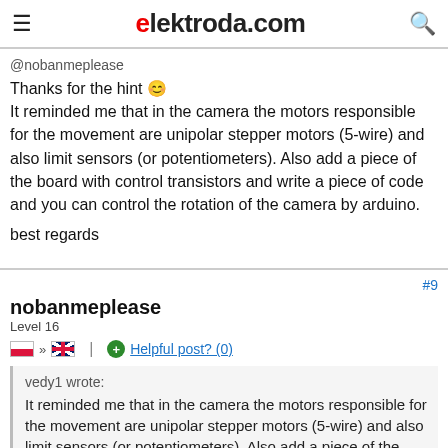elektroda.com
@nobanmeplease
Thanks for the hint :)
It reminded me that in the camera the motors responsible for the movement are unipolar stepper motors (5-wire) and also limit sensors (or potentiometers). Also add a piece of the board with control transistors and write a piece of code and you can control the rotation of the camera by arduino.

best regards
#9
nobanmeplease
Level 16
Helpful post? (0)
vedy1 wrote:
It reminded me that in the camera the motors responsible for the movement are unipolar stepper motors (5-wire) and also limit sensors (or potentiometers). Also add a piece of the